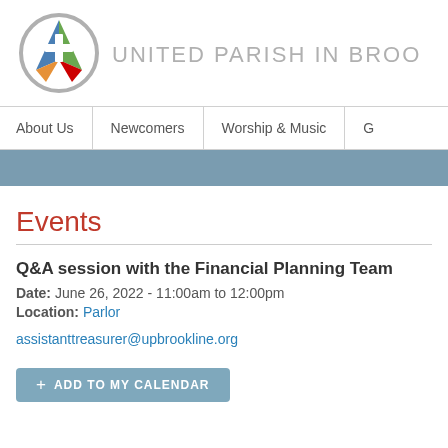[Figure (logo): United Parish in Brookline circular logo with cross and colorful triangular shapes in blue, orange, green, red]
UNITED PARISH IN BROO
About Us | Newcomers | Worship & Music | G
Events
Q&A session with the Financial Planning Team
Date: June 26, 2022 - 11:00am to 12:00pm
Location: Parlor
assistanttreasurer@upbrookline.org
+ ADD TO MY CALENDAR